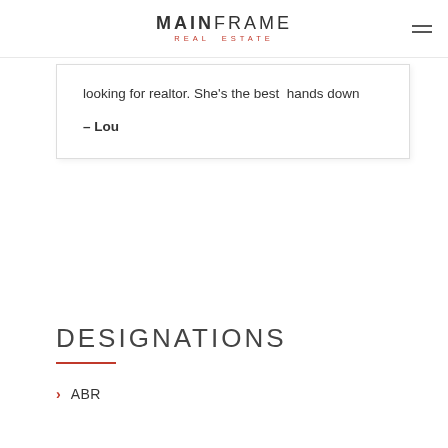MAINFRAME REAL ESTATE
looking for realtor. She's the best  hands down
– Lou
DESIGNATIONS
ABR